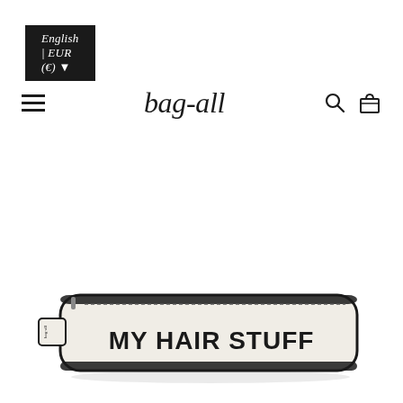English | EUR (€) ▼
bag-all
[Figure (photo): A white/cream colored elongated zipper pouch with black trim and the text 'MY HAIR STUFF' printed in bold black letters on the front. A small bag-all label tag is visible on the left side.]